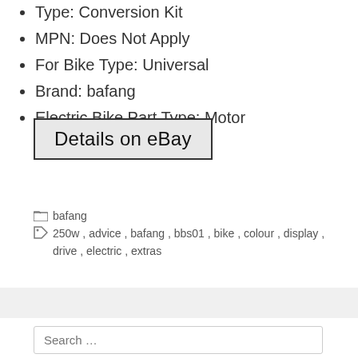Type: Conversion Kit
MPN: Does Not Apply
For Bike Type: Universal
Brand: bafang
Electric Bike Part Type: Motor
[Figure (other): Button labeled 'Details on eBay' with dark border and light gray background]
bafang
250w , advice , bafang , bbs01 , bike , colour , display , drive , electric , extras
Search …